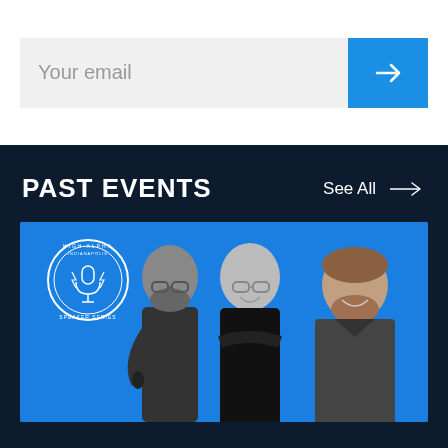[Figure (screenshot): Email input field with 'Your email' placeholder text and a blue arrow button for submission]
PAST EVENTS
See All →
[Figure (photo): High Alpha Speaker Series event photo showing three men against a blue background with the High Alpha Speaker Series circular badge logo in the upper left corner]